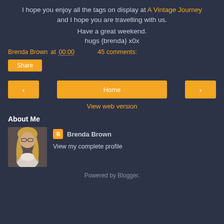I hope you enjoy all the tags on display at A Vintage Journey and I hope you are travelling with us.
Have a great weekend.
hugs {brenda} x0x
Brenda Brown at 00:00    45 comments:
Share
[Figure (screenshot): Navigation row with left arrow button, Home button, and right arrow button, all in orange]
View web version
About Me
[Figure (photo): Profile photo of a woman with glasses and long blond hair]
Brenda Brown
View my complete profile
Powered by Blogger.